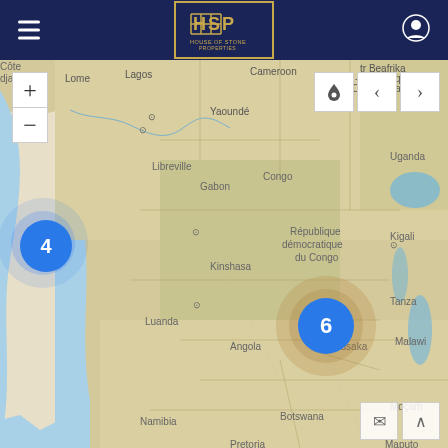[Figure (screenshot): House of Stone Properties website header with dark navy blue background, hamburger menu icon on left, HSP logo in center, user account icon on right]
[Figure (map): Interactive map of Central and Southern Africa showing countries including Congo, Gabon, Angola, Zambia, Botswana, Namibia, Uganda, and others. Map has two blue cluster markers: one showing '4' near the west coast and one showing '6' near Lusaka/Zimbabwe area. Map controls include zoom in/out buttons and navigation arrows.]